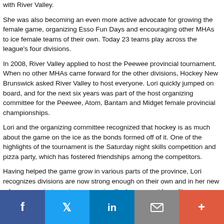with River Valley.
She was also becoming an even more active advocate for growing the female game, organizing Esso Fun Days and encouraging other MHAs to ice female teams of their own. Today 23 teams play across the league's four divisions.
In 2008, River Valley applied to host the Peewee provincial tournament. When no other MHAs came forward for the other divisions, Hockey New Brunswick asked River Valley to host everyone. Lori quickly jumped on board, and for the next six years was part of the host organizing committee for the Peewee, Atom, Bantam and Midget female provincial championships.
Lori and the organizing committee recognized that hockey is as much about the game on the ice as the bonds formed off of it. One of the highlights of the tournament is the Saturday night skills competition and pizza party, which has fostered friendships among the competitors.
Having helped the game grow in various parts of the province, Lori recognizes divisions are now strong enough on their own and in her new role as commissioner is encouraging the tournament be split so more communities can see the female game firsthand.
[Figure (other): Social media sharing bar with Facebook, Twitter, LinkedIn, Email, and More buttons]